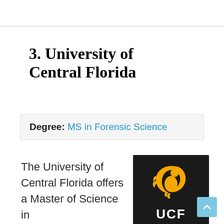3. University of Central Florida
Degree: MS in Forensic Science
The University of Central Florida offers a Master of Science in
[Figure (logo): UCF (University of Central Florida) logo — black background with golden Pegasus emblem and white 'UCF' text]